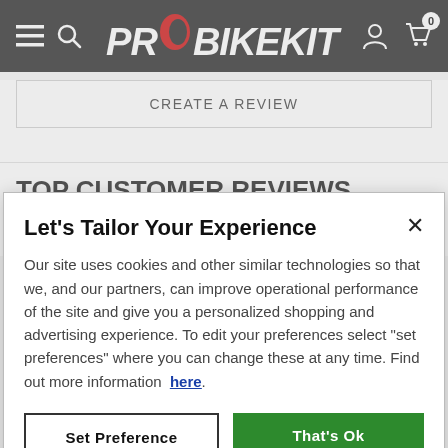[Figure (screenshot): ProBikeKit website navigation bar with hamburger menu, search icon, ProBikeKit logo, user icon, and cart icon with badge showing 0]
CREATE A REVIEW
TOP CUSTOMER REVIEWS
Where reviews refer to foods or cosmetic products, results
Let's Tailor Your Experience
Our site uses cookies and other similar technologies so that we, and our partners, can improve operational performance of the site and give you a personalized shopping and advertising experience. To edit your preferences select "set preferences" where you can change these at any time. Find out more information  here.
Set Preference
That's Ok